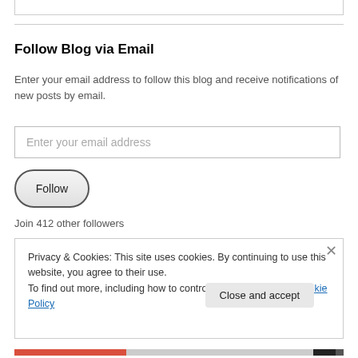Follow Blog via Email
Enter your email address to follow this blog and receive notifications of new posts by email.
Enter your email address
Follow
Join 412 other followers
Privacy & Cookies: This site uses cookies. By continuing to use this website, you agree to their use.
To find out more, including how to control cookies, see here: Cookie Policy
Close and accept